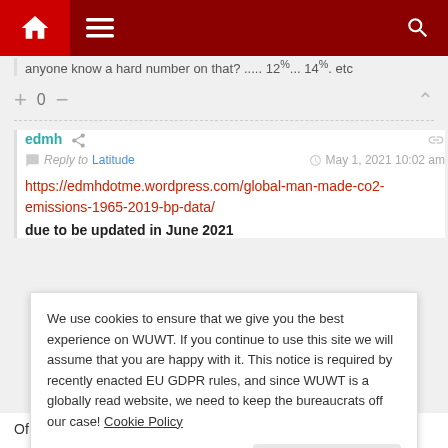[Figure (screenshot): Website navigation bar with dark red background, home icon, hamburger menu icon, and search icon]
anyone know a hard number on that? ..... 12%... 14%... etc
+ 0 −
edmh
Reply to Latitude  May 1, 2021 10:02 am
https://edmhdotme.wordpress.com/global-man-made-co2-emissions-1965-2019-bp-data/
due to be updated in June 2021
We use cookies to ensure that we give you the best experience on WUWT. If you continue to use this site we will assume that you are happy with it. This notice is required by recently enacted EU GDPR rules, and since WUWT is a globally read website, we need to keep the bureaucrats off our case! Cookie Policy
Close and accept
Of course, I am like President Trump. He is not an authentic